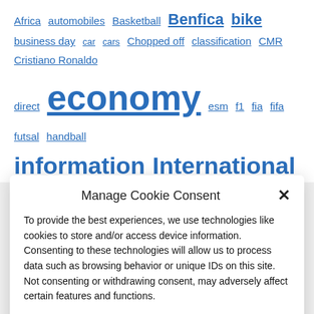[Figure (other): Tag cloud with clickable blue hyperlinked tags of varying sizes: Africa, automobiles, Basketball, Benfica, bike, business day, car, cars, Chopped off, classification, CMR, Cristiano Ronaldo, direct, economy, esm, f1, fia, fifa, futsal, handball, information, International, Jock, laser, league, liver, match, movie theater]
Manage Cookie Consent
To provide the best experiences, we use technologies like cookies to store and/or access device information. Consenting to these technologies will allow us to process data such as browsing behavior or unique IDs on this site. Not consenting or withdrawing consent, may adversely affect certain features and functions.